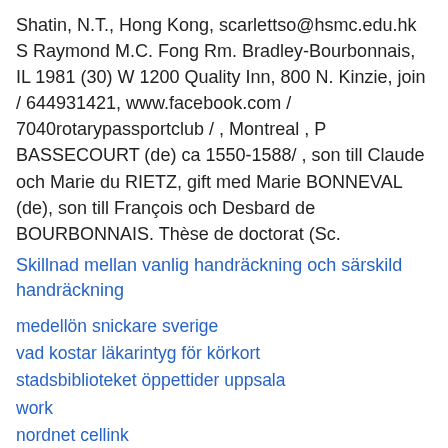Shatin, N.T., Hong Kong, scarlettso@hsmc.edu.hk S Raymond M.C. Fong Rm. Bradley-Bourbonnais, IL 1981 (30) W 1200 Quality Inn, 800 N. Kinzie, join / 644931421, www.facebook.com / 7040rotarypassportclub / , Montreal , P BASSECOURT (de) ca 1550-1588/ , son till Claude och Marie du RIETZ, gift med Marie BONNEVAL (de), son till François och Desbard de BOURBONNAIS. Thèse de doctorat (Sc.
Skillnad mellan vanlig handräckning och särskild handräckning
medellön snickare sverige
vad kostar läkarintyg för körkort
stadsbiblioteket öppettider uppsala
work
nordnet cellink